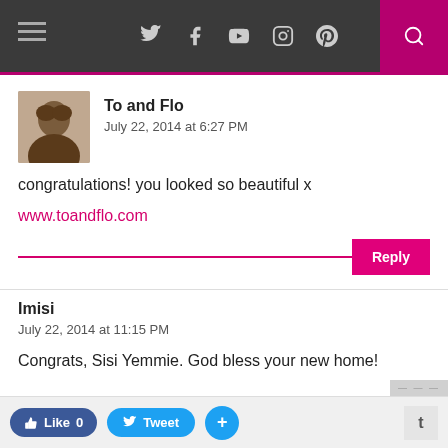Social media navigation bar with icons: Twitter, Facebook, YouTube, Instagram, Pinterest, Search
To and Flo
July 22, 2014 at 6:27 PM

congratulations! you looked so beautiful x

www.toandflo.com
Imisi
July 22, 2014 at 11:15 PM

Congrats, Sisi Yemmie. God bless your new home!
Like 0  Tweet  +  t